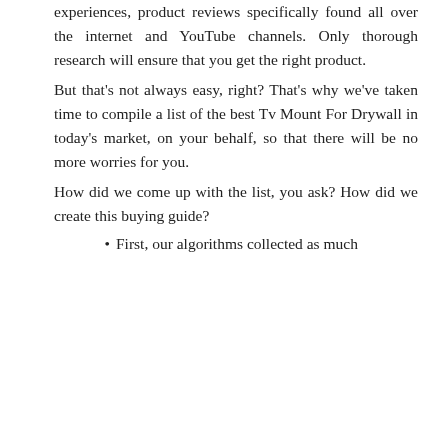experiences, product reviews specifically found all over the internet and YouTube channels. Only thorough research will ensure that you get the right product.
But that's not always easy, right? That's why we've taken time to compile a list of the best Tv Mount For Drywall in today's market, on your behalf, so that there will be no more worries for you.
How did we come up with the list, you ask? How did we create this buying guide?
First, our algorithms collected as much